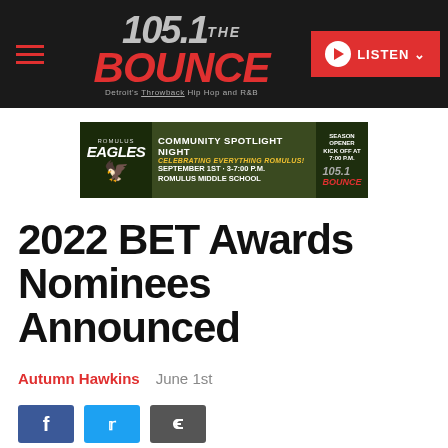105.1 THE BOUNCE — Detroit's Throwback Hip Hop and R&B | LISTEN
[Figure (photo): Advertisement banner for Romulus Eagles Community Spotlight Night, September 1st, 3-7:00 P.M., Romulus Middle School. Season Opener Kick Off at 7:00 P.M. 105.1 Bounce.]
2022 BET Awards Nominees Announced
Autumn Hawkins   June 1st